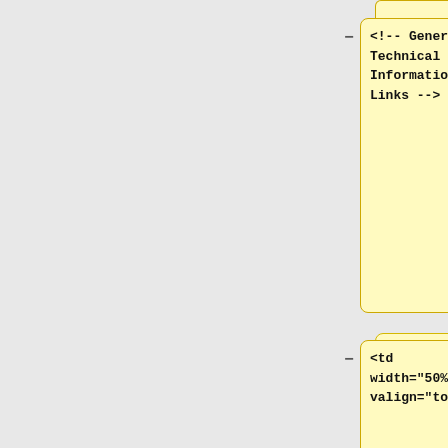<!-- General Technical Information: Links -->
The table below lists where you can find general information about GEOS-Chem.
<td width="50%" valign="top">
* [[Initial conditions for GEOS-Chem]]
* [[GEOS-Chem Debugging Tips|Tips on how to debug GEOS-Chem effectively]]
* [[Reporting